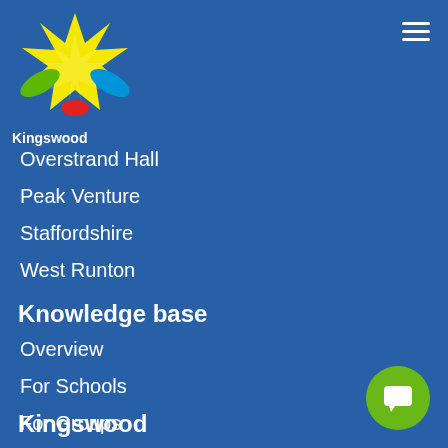[Figure (logo): Kingswood logo with colorful starburst graphic and 'Kingswood' text below]
Overstrand Hall
Peak Venture
Staffordshire
West Runton
Knowledge base
Overview
For Schools
For Groups
For Parents
For Internationals
FAQs
Kingswood